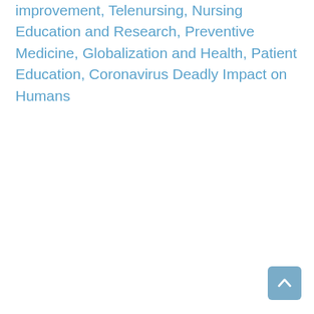improvement, Telenursing, Nursing Education and Research, Preventive Medicine, Globalization and Health, Patient Education, Coronavirus Deadly Impact on Humans
[Figure (other): Scroll-to-top button with upward chevron arrow, steel blue rounded rectangle]